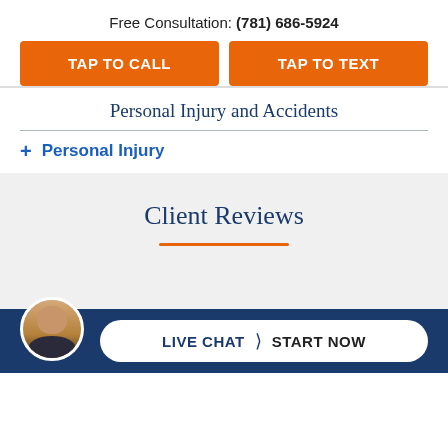Free Consultation: (781) 686-5924
TAP TO CALL
TAP TO TEXT
Personal Injury and Accidents
+ Personal Injury
Client Reviews
LIVE CHAT START NOW